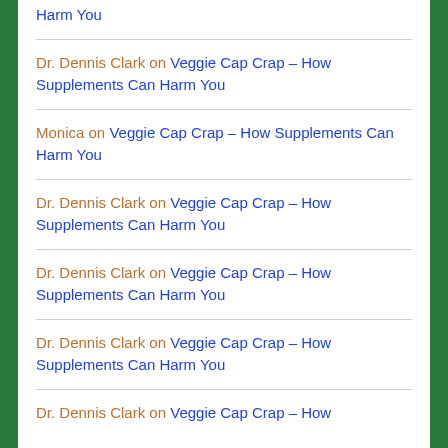Harm You
Dr. Dennis Clark on Veggie Cap Crap – How Supplements Can Harm You
Monica on Veggie Cap Crap – How Supplements Can Harm You
Dr. Dennis Clark on Veggie Cap Crap – How Supplements Can Harm You
Dr. Dennis Clark on Veggie Cap Crap – How Supplements Can Harm You
Dr. Dennis Clark on Veggie Cap Crap – How Supplements Can Harm You
Dr. Dennis Clark on Veggie Cap Crap – How